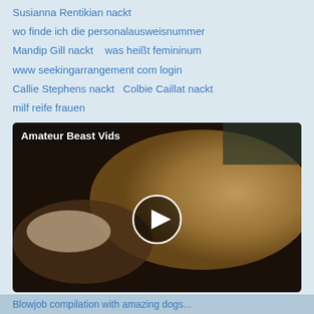Susianna Rentikian nackt
wo finde ich die personalausweisnummer
Mandip Gill nackt    was heißt femininum
www seekingarrangement com login
Callie Stephens nackt    Colbie Caillat nackt
milf reife frauen
[Figure (screenshot): Video thumbnail labeled 'Amateur Beast Vids' showing a blurry scene with a play button overlay]
COM enforces zero-tolerance policy towards all illegal types of pornography.
Blowjob compilation with amazing dogs...